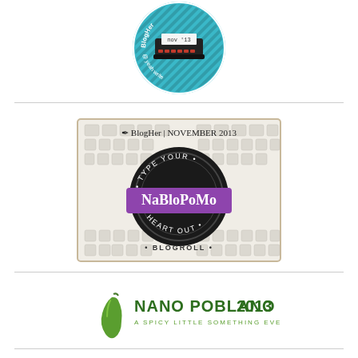[Figure (logo): Circular teal badge with typewriter graphic, text 'BlogHer', 'nov 13', 'yeah write' around the border]
[Figure (logo): NaBloPoMo November 2013 BlogHer blogroll badge with keyboard background, circular dark stamp design saying 'Type Your NaBloPoMo Heart Out' with purple banner, and 'BLOGROLL' text at bottom]
[Figure (logo): Nano Poblano 2013 logo with green chili pepper icon, text 'NANO POBLANO 2013' in dark green and 'A SPICY LITTLE SOMETHING EVERY DAY' in smaller text]